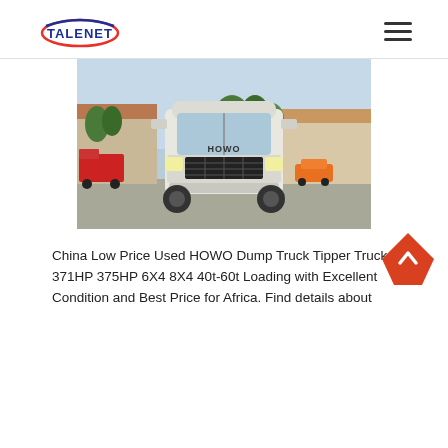TALENET
[Figure (photo): Front view of a white HOWO heavy dump truck parked in a yard with buildings and trees in the background, with other red trucks and an orange car visible]
China Low Price Used HOWO Dump Truck Tipper Truck 371HP 375HP 6X4 8X4 40t-60t Loading with Excellent Condition and Best Price for Africa. Find details about